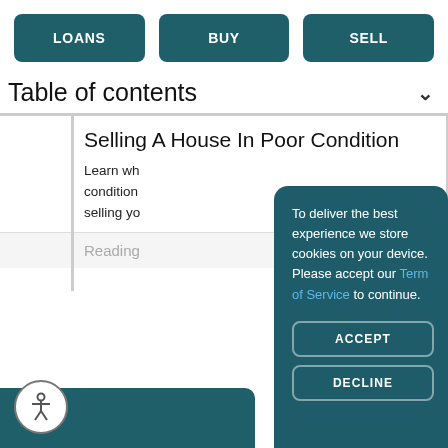[Figure (screenshot): Navigation buttons: LOANS, BUY, SELL on teal background]
Table of contents
Selling A House In Poor Condition
Learn why... condition... selling yo...
Reading...
To deliver the best experience we store cookies on your device. Please accept our Term of Service to continue.
ACCEPT
DECLINE